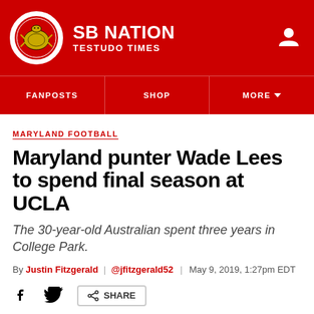SB NATION / TESTUDO TIMES
MARYLAND FOOTBALL
Maryland punter Wade Lees to spend final season at UCLA
The 30-year-old Australian spent three years in College Park.
By Justin Fitzgerald | @jfitzgerald52 | May 9, 2019, 1:27pm EDT